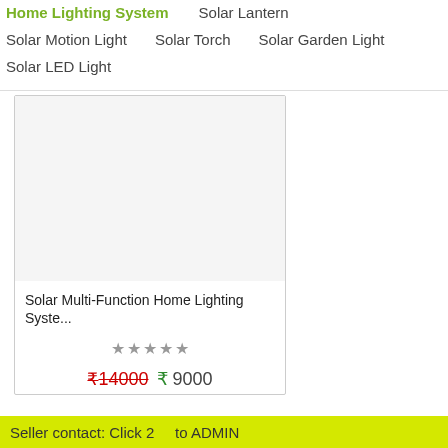Home Lighting System    Solar Lantern
Solar Motion Light    Solar Torch    Solar Garden Light
Solar LED Light
[Figure (photo): White/blank product image placeholder area inside a product card]
Solar Multi-Function Home Lighting Syste...
★★★★★ (star rating)
₹14000  ₹ 9000
Seller contact: Click 2    to ADMIN